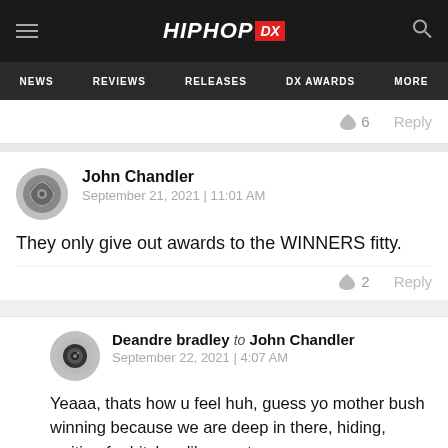HipHopDX | NEWS | REVIEWS | RELEASES | DX AWARDS | MORE
6  Reply
John Chandler
September 21, 2021 | 11:01 AM

They only give out awards to the WINNERS fitty.

2  Reply
Deandre bradley to John Chandler
September 22, 2021 | 4:07 AM

Yeaaa, thats how u feel huh, guess yo mother bush winning because we are deep in there, hiding, waiting for bitches like you to pop up so we can come after u pussy..